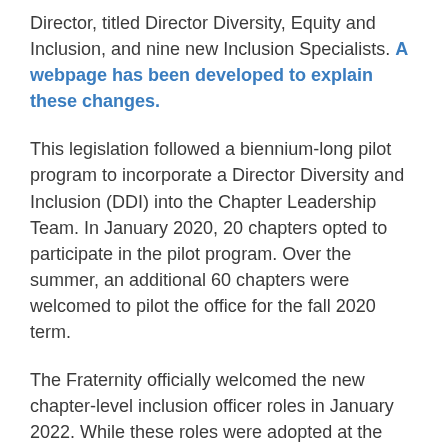Director, titled Director Diversity, Equity and Inclusion, and nine new Inclusion Specialists. A webpage has been developed to explain these changes.
This legislation followed a biennium-long pilot program to incorporate a Director Diversity and Inclusion (DDI) into the Chapter Leadership Team. In January 2020, 20 chapters opted to participate in the pilot program. Over the summer, an additional 60 chapters were welcomed to pilot the office for the fall 2020 term.
The Fraternity officially welcomed the new chapter-level inclusion officer roles in January 2022. While these roles were adopted at the 2021 Convention, their officers were officially begun in the fall...